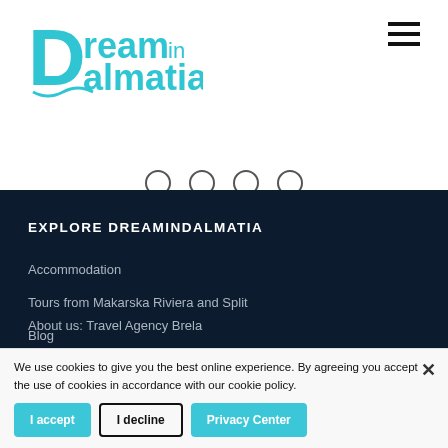[Figure (logo): Dream in Dalmatia logo in teal/cyan color]
[Figure (other): Hamburger menu icon (three horizontal lines)]
[Figure (other): Slider navigation dots — four circles, first selected]
EXPLORE DREAMINDALMATIA
Accommodation
Tours from Makarska Riviera and Split
Blog
About us: Travel Agency Brela
We use cookies to give you the best online experience. By agreeing you accept the use of cookies in accordance with our cookie policy.
I accept
I decline
Privacy Center